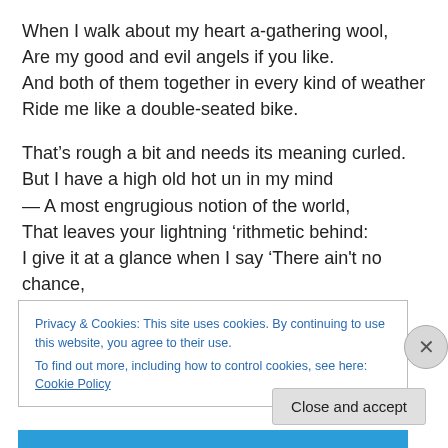When I walk about my heart a-gathering wool,
Are my good and evil angels if you like.
And both of them together in every kind of weather
Ride me like a double-seated bike.
That’s rough a bit and needs its meaning curled.
But I have a high old hot un in my mind
— A most engrugious notion of the world,
That leaves your lightning ‘rithmetic behind:
I give it at a glance when I say ‘There ain't no chance,
Nor nothing of the lucky-lottery kind.’
Privacy & Cookies: This site uses cookies. By continuing to use this website, you agree to their use.
To find out more, including how to control cookies, see here: Cookie Policy
Close and accept